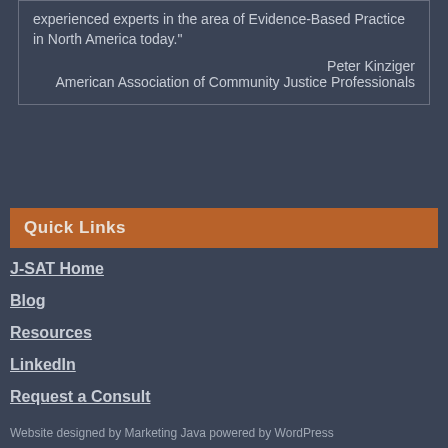experienced experts in the area of Evidence-Based Practice in North America today." Peter Kinziger American Association of Community Justice Professionals
Quick Links
J-SAT Home
Blog
Resources
LinkedIn
Request a Consult
Website designed by Marketing Java powered by WordPress